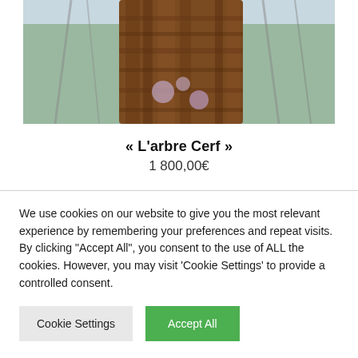[Figure (photo): Close-up photograph of a large tree trunk with textured brown bark, with bare grey tree branches and green foliage visible in the background.]
« L'arbre Cerf »
1 800,00€
We use cookies on our website to give you the most relevant experience by remembering your preferences and repeat visits. By clicking "Accept All", you consent to the use of ALL the cookies. However, you may visit 'Cookie Settings' to provide a controlled consent.